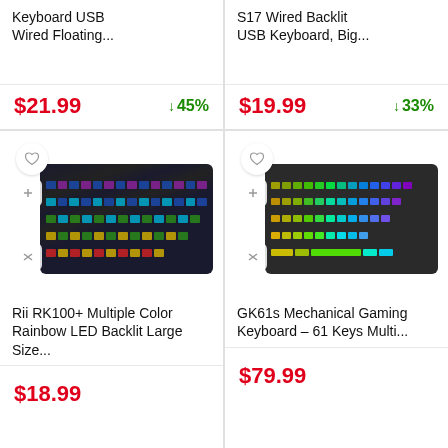Keyboard USB Wired Floating...
$21.99
↓ 45%
S17 Wired Backlit USB Keyboard, Big...
$19.99
↓ 33%
[Figure (photo): Rii RK100+ rainbow LED backlit gaming keyboard with colorful illuminated keys]
Rii RK100+ Multiple Color Rainbow LED Backlit Large Size...
$18.99
[Figure (photo): GK61s Mechanical Gaming Keyboard with 61 keys and multi-color RGB backlight]
GK61s Mechanical Gaming Keyboard – 61 Keys Multi...
$79.99